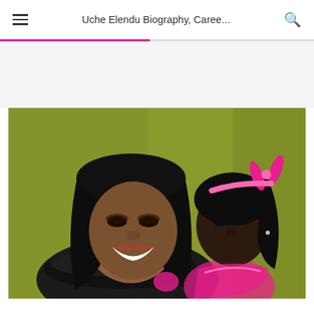Uche Elendu Biography, Caree...
[Figure (photo): A woman with long black hair, heavy eye makeup, and a black feather boa smiling at the camera, with a young girl wearing a pink headband bow and pink outfit standing behind her, against a green background.]